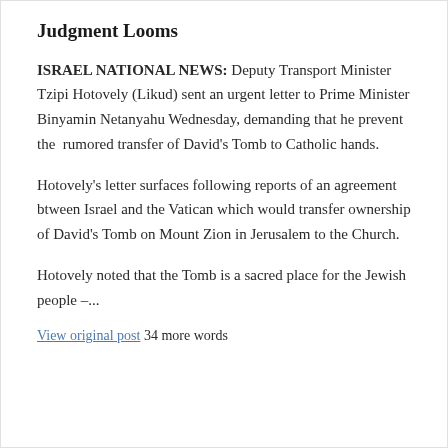Judgment Looms
ISRAEL NATIONAL NEWS: Deputy Transport Minister Tzipi Hotovely (Likud) sent an urgent letter to Prime Minister Binyamin Netanyahu Wednesday, demanding that he prevent the rumored transfer of David's Tomb to Catholic hands.
Hotovely's letter surfaces following reports of an agreement btween Israel and the Vatican which would transfer ownership of David's Tomb on Mount Zion in Jerusalem to the Church.
Hotovely noted that the Tomb is a sacred place for the Jewish people –...
View original post 34 more words